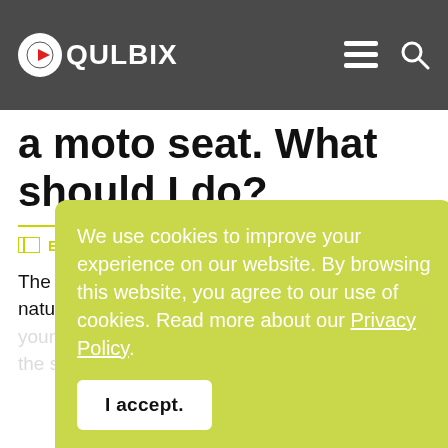QULBIX
a moto seat. What should I do?
E-BIKE FAQ
The beauty of your e-bike is that is modular in nature. All you n... y... si... th...
We use cookies to improve your experience on our website. By browsing this website, you agree to our use of cookies. Read more about our Privacy Policy.
I accept.